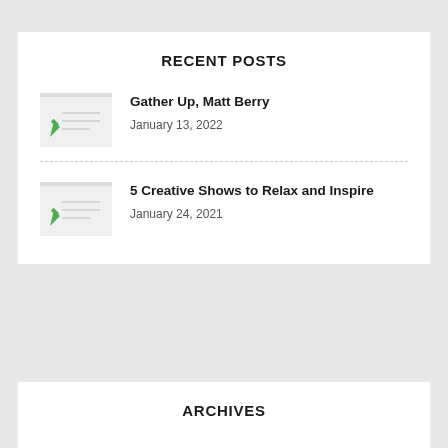RECENT POSTS
Gather Up, Matt Berry
January 13, 2022
5 Creative Shows to Relax and Inspire
January 24, 2021
ARCHIVES